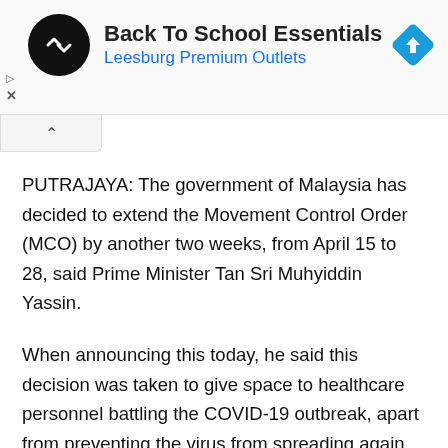[Figure (screenshot): Advertisement banner for Back To School Essentials at Leesburg Premium Outlets with a black circular logo with double arrows and a blue diamond navigation icon on the right]
PUTRAJAYA: The government of Malaysia has decided to extend the Movement Control Order (MCO) by another two weeks, from April 15 to 28, said Prime Minister Tan Sri Muhyiddin Yassin.
When announcing this today, he said this decision was taken to give space to healthcare personnel battling the COVID-19 outbreak, apart from preventing the virus from spreading again.